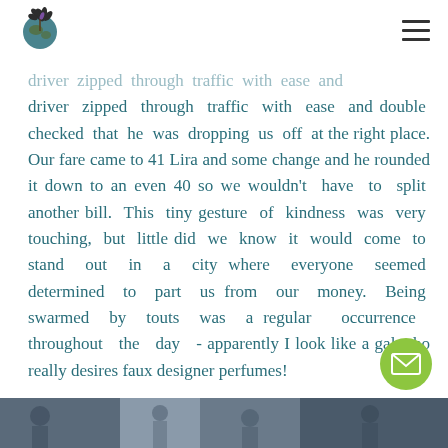[Logo and navigation menu]
driver zipped through traffic with ease and double checked that he was dropping us off at the right place. Our fare came to 41 Lira and some change and he rounded it down to an even 40 so we wouldn't have to split another bill. This tiny gesture of kindness was very touching, but little did we know it would come to stand out in a city where everyone seemed determined to part us from our money. Being swarmed by touts was a regular occurrence throughout the day - apparently I look like a gal who really desires faux designer perfumes!
[Figure (photo): Partial photo strip at the bottom of the page, showing people or scene in muted blues and grays]